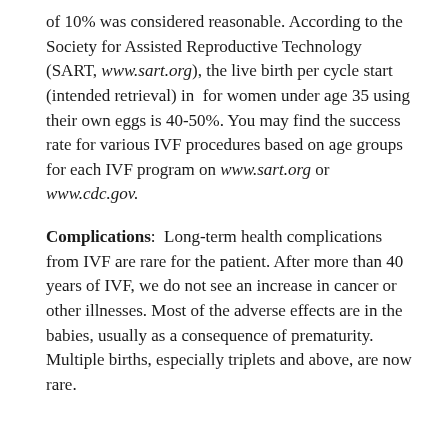of 10% was considered reasonable. According to the Society for Assisted Reproductive Technology (SART, www.sart.org), the live birth per cycle start (intended retrieval) in  for women under age 35 using their own eggs is 40-50%. You may find the success rate for various IVF procedures based on age groups for each IVF program on www.sart.org or www.cdc.gov.
Complications:  Long-term health complications from IVF are rare for the patient. After more than 40 years of IVF, we do not see an increase in cancer or other illnesses. Most of the adverse effects are in the babies, usually as a consequence of prematurity. Multiple births, especially triplets and above, are now rare.